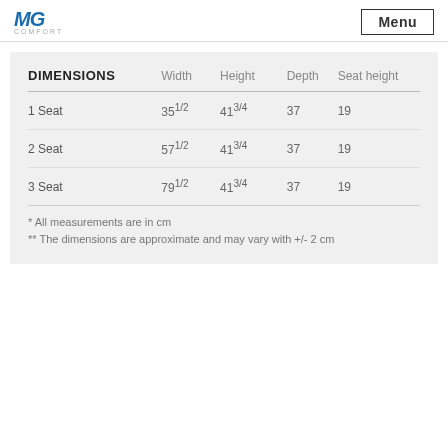MG Comfort | Menu
| DIMENSIONS | Width | Height | Depth | Seat height |
| --- | --- | --- | --- | --- |
| 1 Seat | 35 1/2 | 41 3/4 | 37 | 19 |
| 2 Seat | 57 1/2 | 41 3/4 | 37 | 19 |
| 3 Seat | 79 1/2 | 41 3/4 | 37 | 19 |
* All measurements are in cm
** The dimensions are approximate and may vary with +/- 2 cm